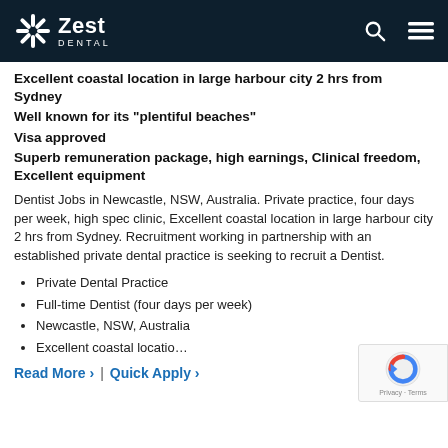Zest Dental
Excellent coastal location in large harbour city 2 hrs from Sydney
Well known for its "plentiful beaches"
Visa approved
Superb remuneration package, high earnings, Clinical freedom, Excellent equipment
Dentist Jobs in Newcastle, NSW, Australia. Private practice, four days per week, high spec clinic, Excellent coastal location in large harbour city 2 hrs from Sydney. Recruitment working in partnership with an established private dental practice is seeking to recruit a Dentist.
Private Dental Practice
Full-time Dentist (four days per week)
Newcastle, NSW, Australia
Excellent coastal locatio…
Read More ›  |  Quick Apply ›